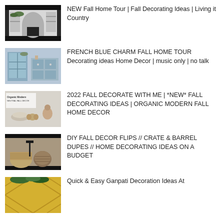NEW Fall Home Tour | Fall Decorating Ideas | Living it Country
FRENCH BLUE CHARM FALL HOME TOUR Decorating ideas Home Decor | music only | no talk
2022 FALL DECORATE WITH ME | *NEW* FALL DECORATING IDEAS | ORGANIC MODERN FALL HOME DECOR
DIY FALL DECOR FLIPS // CRATE & BARREL DUPES // HOME DECORATING IDEAS ON A BUDGET
Quick & Easy Ganpati Decoration Ideas At